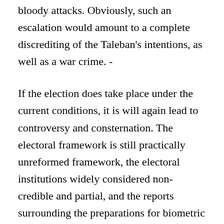bloody attacks. Obviously, such an escalation would amount to a complete discrediting of the Taleban's intentions, as well as a war crime. -
If the election does take place under the current conditions, it is will again lead to controversy and consternation. The electoral framework is still practically unreformed framework, the electoral institutions widely considered non-credible and partial, and the reports surrounding the preparations for biometric verification suggest the likelihood of renewed chaos. Under these circumstances, any result could easily be challenged. Delaying the election would deprive Afghans of the chance to make their